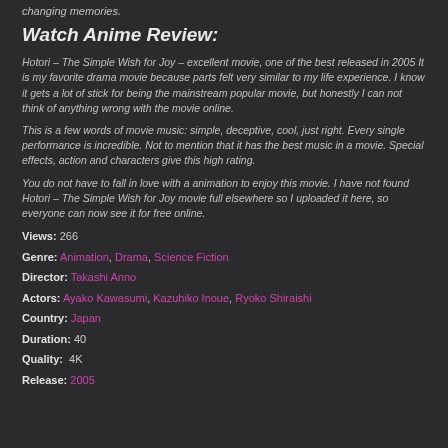changing memories.
Watch Anime Review:
Hotori – The Simple Wish for Joy – excellent movie, one of the best released in 2005 It is my favorite drama movie because parts felt very similar to my life experience. I know it gets a lot of stick for being the mainstream popular movie, but honestly I can not think of anything wrong with the movie online.
This is a few words of movie music: simple, deceptive, cool, just right. Every single performance is incredible. Not to mention that it has the best music in a movie. Special effects, action and characters give this high rating.
You do not have to fall in love with a animation to enjoy this movie. I have not found Hotori – The Simple Wish for Joy movie full elsewhere so I uploaded it here, so everyone can now see it for free online.
Views: 266
Genre: Animation, Drama, Science Fiction
Director: Takashi Anno
Actors: Ayako Kawasumi, Kazuhiko Inoue, Ryoko Shiraishi
Country: Japan
Duration: 40
Quality: 4K
Release: 2005